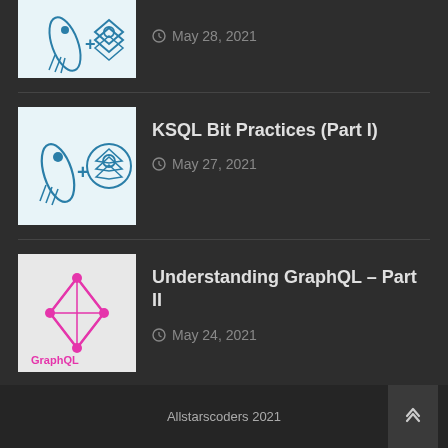[Figure (illustration): Partial thumbnail: KSQL and layers icon on light blue background, top cut off]
May 28, 2021
[Figure (illustration): Thumbnail with feather/rocket and stacked layers icons on light blue background]
KSQL Bit Practices (Part I)
May 27, 2021
[Figure (logo): GraphQL logo with pink diamond and text on light grey background]
Understanding GraphQL – Part II
May 24, 2021
Allstarscoders 2021